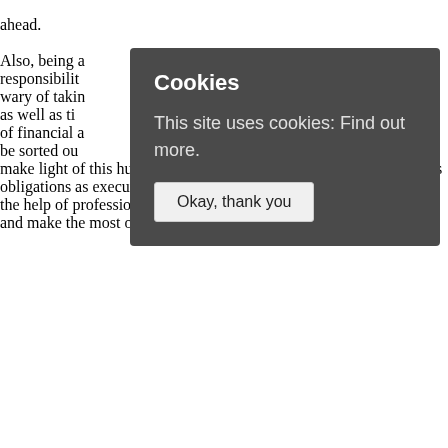ahead. Also, being a responsibility wary of taking as well as time of financial a be sorted out make light of this huge responsibility of taking care of the deceased's obligations as executors of his will. What we can do instead is take the help of professionals having experience in all the legal aspects and make the most of the probate advice so obtained.
[Figure (screenshot): Cookie consent popup overlay with dark background. Title 'Cookies' in bold white, body text 'This site uses cookies: Find out more.' in light gray, and a button 'Okay, thank you' in light background.]